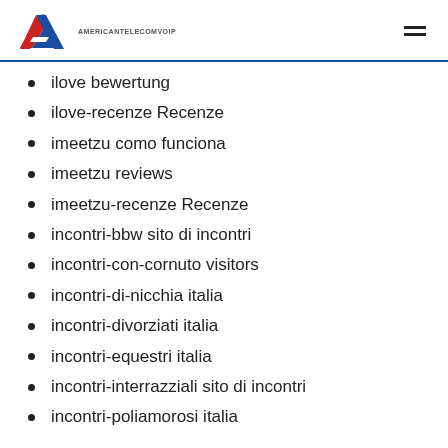AMERICANTELECOMVOIP
ilove bewertung
ilove-recenze Recenze
imeetzu como funciona
imeetzu reviews
imeetzu-recenze Recenze
incontri-bbw sito di incontri
incontri-con-cornuto visitors
incontri-di-nicchia italia
incontri-divorziati italia
incontri-equestri italia
incontri-interrazziali sito di incontri
incontri-poliamorosi italia